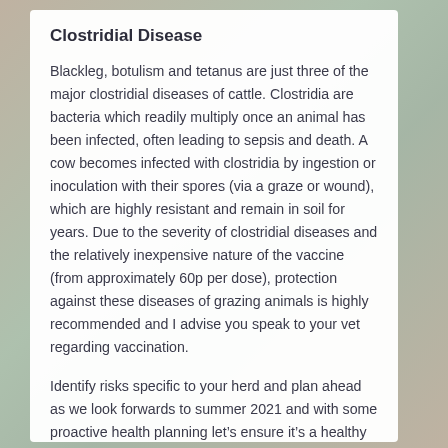Clostridial Disease
Blackleg, botulism and tetanus are just three of the major clostridial diseases of cattle. Clostridia are bacteria which readily multiply once an animal has been infected, often leading to sepsis and death. A cow becomes infected with clostridia by ingestion or inoculation with their spores (via a graze or wound), which are highly resistant and remain in soil for years. Due to the severity of clostridial diseases and the relatively inexpensive nature of the vaccine (from approximately 60p per dose), protection against these diseases of grazing animals is highly recommended and I advise you speak to your vet regarding vaccination.
Identify risks specific to your herd and plan ahead as we look forwards to summer 2021 and with some proactive health planning let’s ensure it’s a healthy and productive summer.